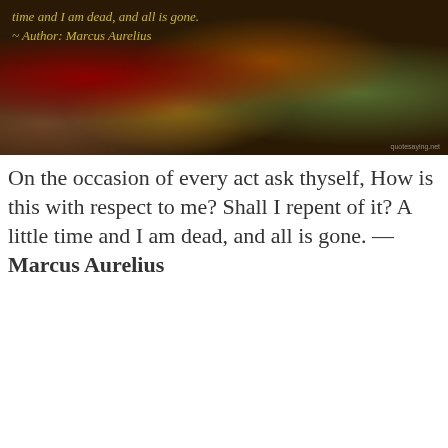[Figure (photo): Dark background image of autumn leaves with yellow italic quote text overlaid: 'time and I am dead, and all is gone. ~ Author: Marcus Aurelius']
On the occasion of every act ask thyself, How is this with respect to me? Shall I repent of it? A little time and I am dead, and all is gone. — Marcus Aurelius
[Figure (photo): Dark image of elephants walking against a dim background with white italic quote text: 'Was it even possible to forgive the dead? Was forgiveness an emotion, or a transaction that required a partner? I had made a promise to someone who would never see it kept. I wanted to respect my grandfather's wish, and it would have been no trouble to evade my mother's question. Keeping secrets was the family business. But it was a business, it seemed to me, that none of us had ever profited from. ~ Author: Michael Chabon']